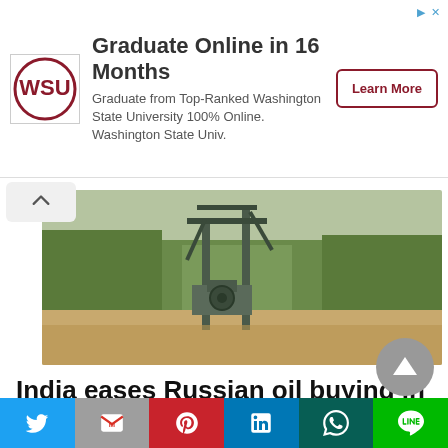[Figure (other): Advertisement banner: WSU logo, 'Graduate Online in 16 Months' headline, 'Graduate from Top-Ranked Washington State University 100% Online. Washington State Univ.' body text, and a 'Learn More' button. Ad control icons (play/close) in top-right corner.]
[Figure (photo): Outdoor photograph of an oil pump jack / drilling rig structure surrounded by green trees/vegetation in a dusty brown field.]
India eases Russian oil buying in July, boosts Saudi imports -trade
[Figure (other): Circular scroll-to-top button (grey circle with upward triangle arrow icon)]
[Figure (other): Social sharing bar with six buttons: Twitter (blue), Gmail/Google Mail (grey), Pinterest (red), LinkedIn (blue), WhatsApp (dark teal/green), LINE (green)]